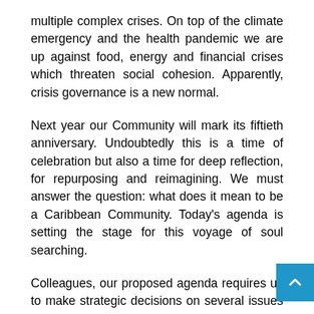multiple complex crises. On top of the climate emergency and the health pandemic we are up against food, energy and financial crises which threaten social cohesion. Apparently, crisis governance is a new normal.
Next year our Community will mark its fiftieth anniversary. Undoubtedly this is a time of celebration but also a time for deep reflection, for repurposing and reimagining. We must answer the question: what does it mean to be a Caribbean Community. Today's agenda is setting the stage for this voyage of soul searching.
Colleagues, our proposed agenda requires us to make strategic decisions on several issues relating to the architecture of our Community, i.e. the Member States, the Secretariat, regional institutions. We will